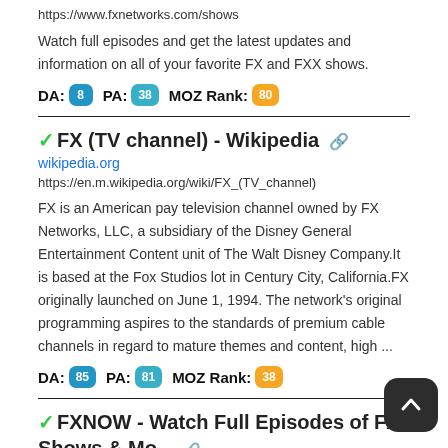https://www.fxnetworks.com/shows
Watch full episodes and get the latest updates and information on all of your favorite FX and FXX shows.
DA: 8  PA: 38  MOZ Rank: 80
✓FX (TV channel) - Wikipedia 🔗
wikipedia.org
https://en.m.wikipedia.org/wiki/FX_(TV_channel)
FX is an American pay television channel owned by FX Networks, LLC, a subsidiary of the Disney General Entertainment Content unit of The Walt Disney Company.It is based at the Fox Studios lot in Century City, California.FX originally launched on June 1, 1994. The network's original programming aspires to the standards of premium cable channels in regard to mature themes and content, high ...
DA: 85  PA: 81  MOZ Rank: 38
✓FXNOW - Watch Full Episodes of FX Shows & Mo... 🔗